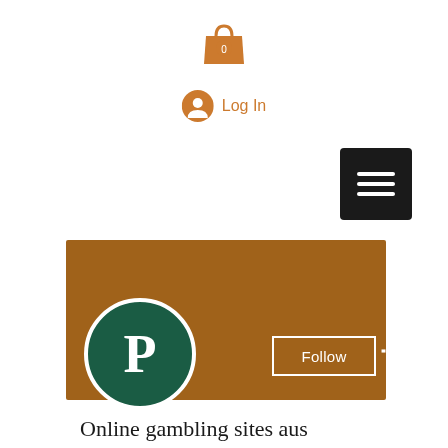[Figure (illustration): Orange shopping bag icon with '0' badge]
[Figure (illustration): Orange user/account circle icon with 'Log In' text]
[Figure (illustration): Black hamburger menu button with three white horizontal lines]
[Figure (illustration): Brown banner background for user profile]
[Figure (illustration): Dark green circle avatar with white letter P, Follow button, and three dots menu]
Online gambling sites aus
0 Followers • 0 Following
[Figure (illustration): Expandable dropdown box with chevron arrow]